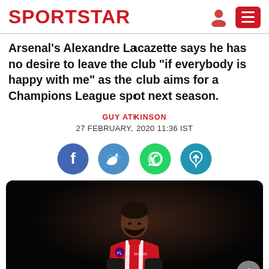SPORTSTAR
Arsenal's Alexandre Lacazette says he has no desire to leave the club "if everybody is happy with me" as the club aims for a Champions League spot next season.
GUY ATKINSON
27 FEBRUARY, 2020 11:36 IST
[Figure (other): Social media sharing icons: Facebook, Twitter, WhatsApp, Telegram]
[Figure (photo): Alexandre Lacazette in Arsenal red and white kit looking downward, wearing black gloves, dark background]